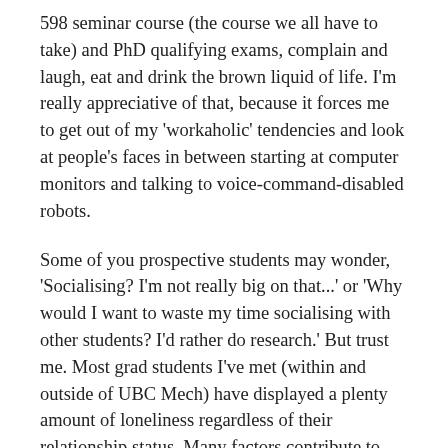598 seminar course (the course we all have to take) and PhD qualifying exams, complain and laugh, eat and drink the brown liquid of life. I'm really appreciative of that, because it forces me to get out of my 'workaholic' tendencies and look at people's faces in between starting at computer monitors and talking to voice-command-disabled robots.
Some of you prospective students may wonder, 'Socialising? I'm not really big on that...' or 'Why would I want to waste my time socialising with other students? I'd rather do research.' But trust me. Most grad students I've met (within and outside of UBC Mech) have displayed a plenty amount of loneliness regardless of their relationship status. Many factors contribute to grad student loneliness issue, but I think my previous uber-long post sheds light to that point a little bit.
I must admit, being a MEGA executive member (I'm the public relations director, i.e., I'm the designated spam person) takes a bit of time out of my usual work day. On Wednesdays, I